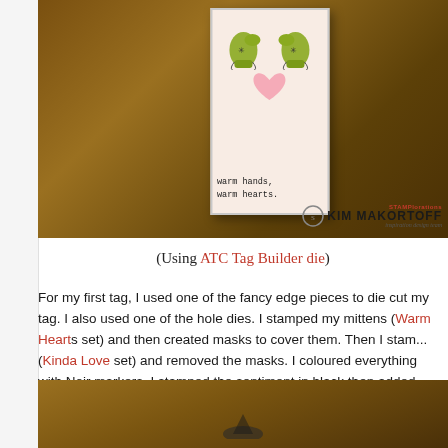[Figure (photo): A handmade tag card featuring stamped mittens and a heart, with text 'warm hands, warm hearts.' on a pink card with silver glitter border. Kim Makortoff inspiration design team watermark visible.]
(Using ATC Tag Builder die)
For my first tag, I used one of the fancy edge pieces to die cut my tag. I also used one of the hole dies. I stamped my mittens (Warm Hearts set) and then created masks to cover them. Then I stamped (Kinda Love set) and removed the masks. I coloured everything with Noir markers. I stamped the sentiment in black then added some silver glitter tape. Lastly I added some ribbon.
[Figure (photo): Partial photo of a wooden surface with the bottom of a crafted item barely visible at the bottom of the page.]